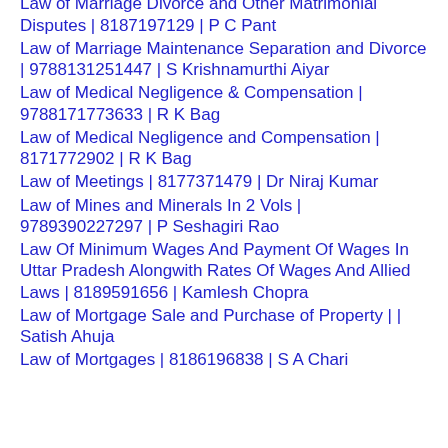9789388822619 | Sumeet Malik
Law of Marriage Divorce and Other Matrimonial Disputes | 8187197129 | P C Pant
Law of Marriage Maintenance Separation and Divorce | 9788131251447 | S Krishnamurthi Aiyar
Law of Medical Negligence & Compensation | 9788171773633 | R K Bag
Law of Medical Negligence and Compensation | 8171772902 | R K Bag
Law of Meetings | 8177371479 | Dr Niraj Kumar
Law of Mines and Minerals In 2 Vols | 9789390227297 | P Seshagiri Rao
Law Of Minimum Wages And Payment Of Wages In Uttar Pradesh Alongwith Rates Of Wages And Allied Laws | 8189591656 | Kamlesh Chopra
Law of Mortgage Sale and Purchase of Property | | Satish Ahuja
Law of Mortgages | 8186196838 | S A Chari